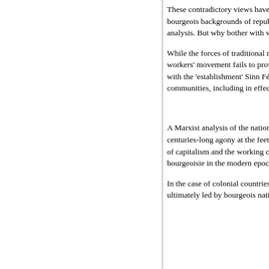These contradictory views have existed for many decades within republicanism. At root, they reflect the contrasting working class and even bourgeois backgrounds of republicans. However, all trends of republicanism have failed to reach their objectives, some would say due to the flawed analysis. But why bother with what Sinn Féin calls 'dissident groups' and 'criminal gangs'?
While the forces of traditional republicanism are much diminished, they are not negligible. It would be mistaken to think they cannot grow. If the workers' movement fails to provide a clear socialist alternative, then republicans can make inroads among Catholic youth in the North, disillusioned with the 'establishment' Sinn Féin and with no experience of the 'peace process' dividend. Continual state repression in many working-class communities, including in effect internment without trial of dissident suspects, is an open sore that can lead youth to embrace armed struggle.
Rising against British imperial
A Marxist analysis of the national question in Ireland and the revolutionary tradition of republicanism must start by laying the blame for Ireland's centuries-long agony at the feet of colonialism and British imperialism. This oppression and injustice led to many uprisings. With the development of capitalism and the working class in the 19th century, Lenin's theory of permanent revolution was borne out in Ireland. This he showed that the bourgeoisie in the modern epoch is incapable of solving the tasks of the democratic revolution.
In the case of colonial countries, that means first and foremost the task of national emancipation. All the heroic struggles of the Irish were ultimately led by bourgeois nationalist leaders. At each stage, the national question is inextricably linked to social problems. The national emu...